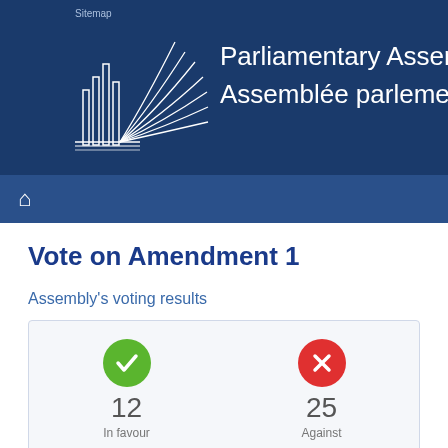Parliamentary Assembly / Assemblée parlementaire
Sitemap
Vote on Amendment  1
Assembly's voting results
| In favour | Against |
| --- | --- |
| 12 | 25 |
All participants in the vote